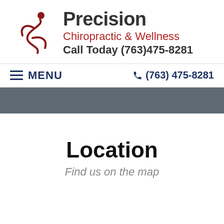[Figure (logo): Precision Chiropractic & Wellness logo with a red stylized human figure and text: Precision, Chiropractic & Wellness, Call Today (763)475-8281]
≡ MENU   ☎ (763) 475-8281
Location
Find us on the map